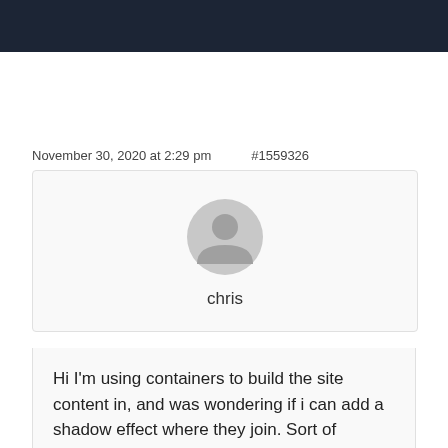November 30, 2020 at 2:29 pm    #1559326
[Figure (illustration): Generic user avatar icon — grey silhouette of a person on light grey circular background — with username 'chris' below]
Hi I'm using containers to build the site content in, and was wondering if i can add a shadow effect where they join. Sort of